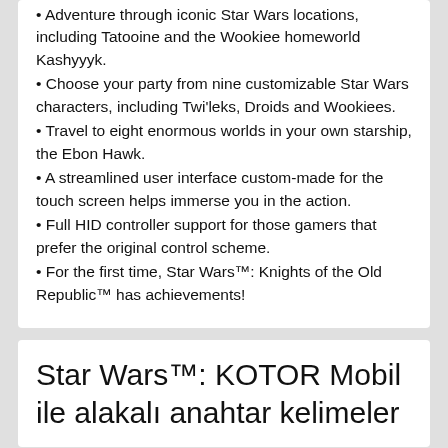• Adventure through iconic Star Wars locations, including Tatooine and the Wookiee homeworld Kashyyyk.
• Choose your party from nine customizable Star Wars characters, including Twi'leks, Droids and Wookiees.
• Travel to eight enormous worlds in your own starship, the Ebon Hawk.
• A streamlined user interface custom-made for the touch screen helps immerse you in the action.
• Full HID controller support for those gamers that prefer the original control scheme.
• For the first time, Star Wars™: Knights of the Old Republic™ has achievements!
Star Wars™: KOTOR Mobil ile alakalı anahtar kelimeler